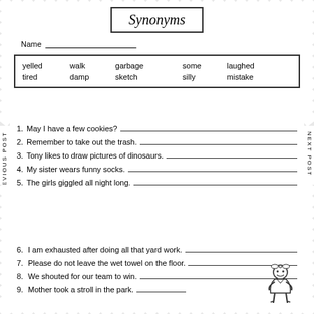Synonyms
Name _______________
| yelled | walk | garbage | some | laughed |
| tired | damp | sketch | silly | mistake |
1. May I have a few cookies?
2. Remember to take out the trash.
3. Tony likes to draw pictures of dinosaurs.
4. My sister wears funny socks.
5. The girls giggled all night long.
6. I am exhausted after doing all that yard work.
7. Please do not leave the wet towel on the floor.
8. We shouted for our team to win.
9. Mother took a stroll in the park.